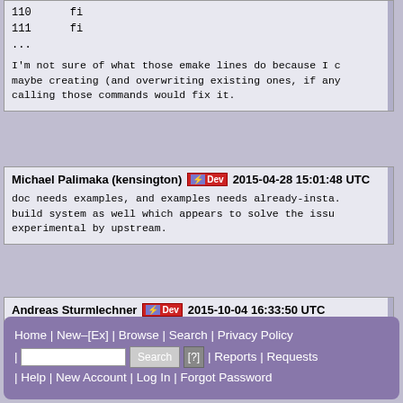110     fi
111     fi
...
I'm not sure of what those emake lines do because I c maybe creating (and overwriting existing ones, if any calling those commands would fix it.
Michael Palimaka (kensington) [Dev] 2015-04-28 15:01:48 UTC
doc needs examples, and examples needs already-insta. build system as well which appears to solve the issu experimental by upstream.
Andreas Sturmlechner [Dev] 2015-10-04 16:33:50 UTC
Seems to work with exiv2-0.25.
Home | New–[Ex] | Browse | Search | Privacy Policy | [Search] [?] | Reports | Requests | Help | New Account | Log In | Forgot Password